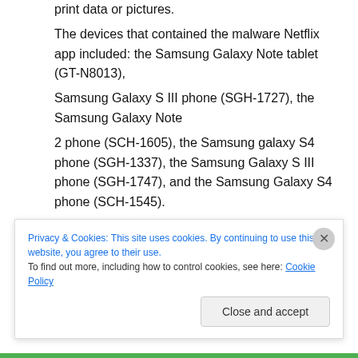print data or pictures. The devices that contained the malware Netflix app included: the Samsung Galaxy Note tablet (GT-N8013), Samsung Galaxy S III phone (SGH-1727), the Samsung Galaxy Note 2 phone (SCH-1605), the Samsung galaxy S4 phone (SGH-1337), the Samsung Galaxy S III phone (SGH-1747), and the Samsung Galaxy S4 phone (SCH-1545). Without the right mental and emotional tools.
Privacy & Cookies: This site uses cookies. By continuing to use this website, you agree to their use. To find out more, including how to control cookies, see here: Cookie Policy